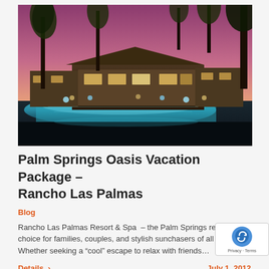[Figure (photo): Night view of Rancho Las Palmas Resort with illuminated pool, palm trees silhouetted against a purple-pink twilight sky, and lit resort buildings in the background.]
Palm Springs Oasis Vacation Package – Rancho Las Palmas
Blog
Rancho Las Palmas Resort & Spa – the Palm Springs resort of choice for families, couples, and stylish sunchasers of all a… Whether seeking a "cool" escape to relax with friends…
Details >
July 1, 2012